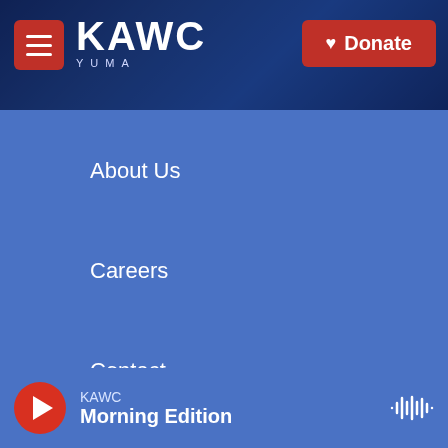KAWC — Donate
About Us
Careers
Contact
CPB & FCC Compliance
A public service of Arizona Western College
[Figure (logo): American Public Media logo]
[Figure (logo): BBC logo]
[Figure (logo): CPB logo]
KAWC Morning Edition